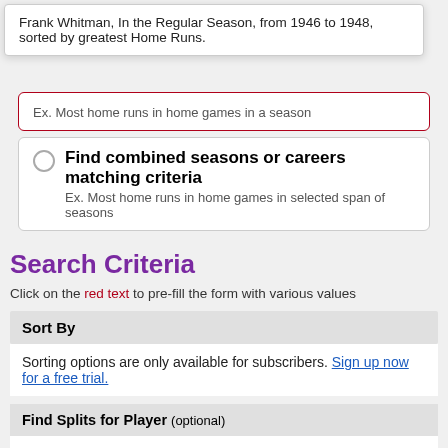Frank Whitman, In the Regular Season, from 1946 to 1948, sorted by greatest Home Runs.
Ex. Most home runs in home games in a season
Find combined seasons or careers matching criteria
Ex. Most home runs in home games in selected span of seasons
Search Criteria
Click on the red text to pre-fill the form with various values
Sort By
Sorting options are only available for subscribers. Sign up now for a free trial.
Find Splits for Player (optional)
Choice is: Frank Whitman ✕
Seasons
1946 to 1948